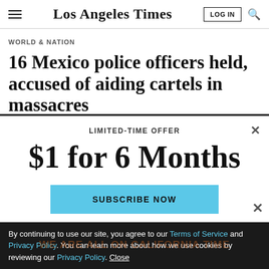Los Angeles Times
WORLD & NATION
16 Mexico police officers held, accused of aiding cartels in massacres
LIMITED-TIME OFFER
$1 for 6 Months
SUBSCRIBE NOW
By continuing to use our site, you agree to our Terms of Service and Privacy Policy. You can learn more about how we use cookies by reviewing our Privacy Policy. Close